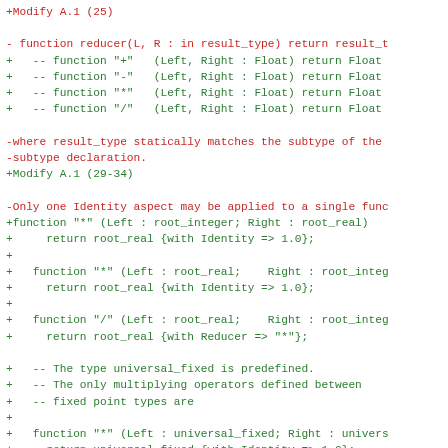Code diff showing modifications to Ada language specification including reducer function, Identity aspect, and universal_fixed type comments